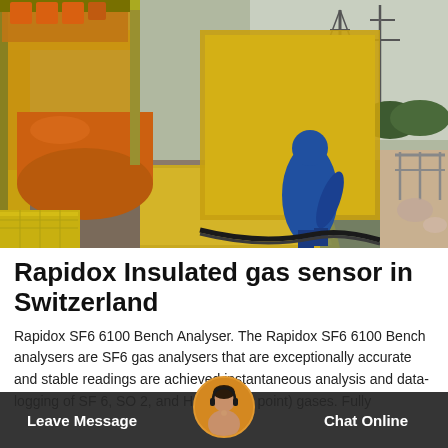[Figure (photo): Industrial site photo showing workers in blue protective suits operating yellow and orange gas handling equipment. Large orange cylindrical tank visible on left. Power transmission towers visible in background on right. Yellow ramp/platform in center foreground. Various hoses and equipment on ground.]
Rapidox Insulated gas sensor in Switzerland
Rapidox SF6 6100 Bench Analyser. The Rapidox SF6 6100 Bench analysers are SF6 gas analysers that are exceptionally accurate and stable readings are achieved instantaneous analysis and data-logging of SF 6, SO 2, and H 2 O (dew point) gases. Fully